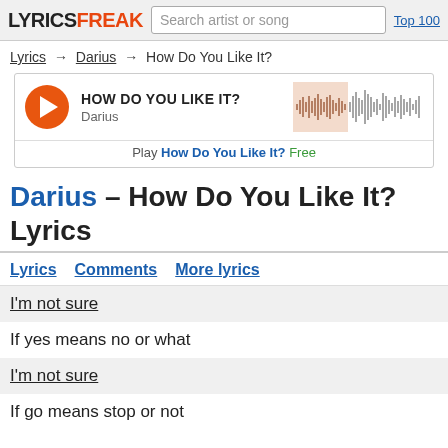LYRICSFREAK | Search artist or song | Top 100
Lyrics → Darius → How Do You Like It?
[Figure (other): Music player widget for 'How Do You Like It?' by Darius with play button, song info, and waveform visualization. Below: 'Play How Do You Like It? Free']
Darius – How Do You Like It? Lyrics
Lyrics   Comments   More lyrics
I'm not sure
If yes means no or what
I'm not sure
If go means stop or not
Which emotions does this song convey in you?